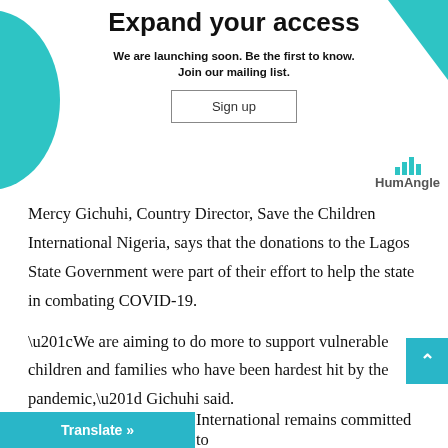Expand your access
We are launching soon. Be the first to know.
Join our mailing list.
[Figure (other): Sign up button with border]
[Figure (logo): HumAngle logo with bar chart icon]
Mercy Gichuhi, Country Director, Save the Children International Nigeria, says that the donations to the Lagos State Government were part of their effort to help the state in combating COVID-19.
“We are aiming to do more to support vulnerable children and families who have been hardest hit by the pandemic,” Gichuhi said.
“… International remains committed to